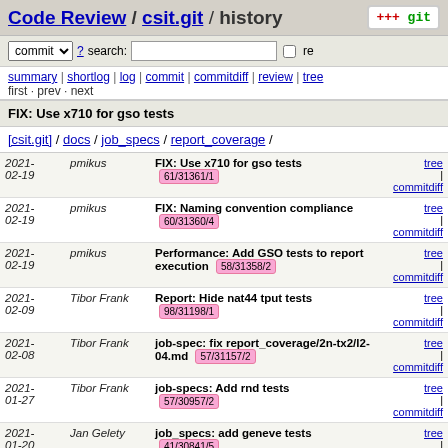Code Review / csit.git / history
commit ? search: re
summary | shortlog | log | commit | commitdiff | review | tree
first · prev · next
FIX: Use x710 for gso tests
[csit.git] / docs / job_specs / report_coverage /
| Date | Author | Message | Links |
| --- | --- | --- | --- |
| 2021-02-19 | pmikus | FIX: Use x710 for gso tests 61/31361/1 | tree | commitdiff |
| 2021-02-19 | pmikus | FIX: Naming convention compliance 60/31360/4 | tree | commitdiff |
| 2021-02-19 | pmikus | Performance: Add GSO tests to report execution 58/31358/2 | tree | commitdiff |
| 2021-02-09 | Tibor Frank | Report: Hide nat44 tput tests 98/31198/1 | tree | commitdiff |
| 2021-02-08 | Tibor Frank | job-spec: fix report_coverage/2n-tx2/l2-04.md 57/31157/2 | tree | commitdiff |
| 2021-01-27 | Tibor Frank | job-specs: Add rnd tests 57/30957/2 | tree | commitdiff |
| 2021-01-20 | Jan Gelety | job_specs: add geneve tests 41/30841/5 | tree | commitdiff |
| 2021- | Jurci Lichte | job_specs: update 2n-tx2 | tree |